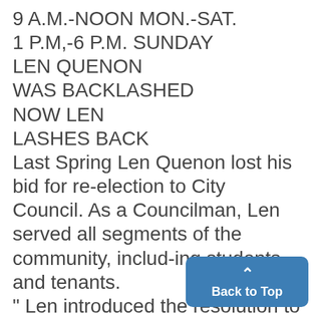9 A.M.-NOON MON.-SAT.
1 P.M,-6 P.M. SUNDAY
LEN QUENON
WAS BACKLASHED
NOW LEN
LASHES BACK
Last Spring Len Quenon lost his bid for re-election to City Council. As a Councilman, Len served all segments of the community, includ-ing students and tenants.
" Len introduced the resolution to ask for abolition of Michigan's constitutional limitations on st